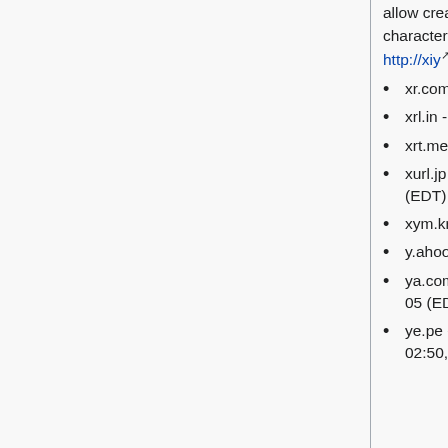allow creation of new shortlinks. Seems to have issued 4 characters using [a-zA-Z0-9?] - http://xiy.net/9Hw3 http://xiy.net/?vfk (as of 17:39, 2016-05-15 (EDT))
xr.com - Doesn't resolve as of 02:37, 2016-05-14 (EDT)
xrl.in - Domain for sale as of 02:37, 2016-05-14 (EDT)
xrt.me - Spam blog as of 02:37, 2016-05-14 (EDT)
xurl.jp - Server not responding as of 12:32, 2016-09-05 (EDT)
xym.kr - Gibberish (?) Korean text blog.
y.ahoo.it - Yahoo
ya.com - Error message in Spanish as of 12:32, 2016-09-05 (EDT)
ye.pe - Running an empty instance of OwnCloud as of 02:50, 2016-05-14